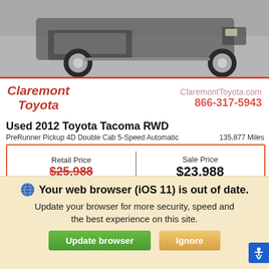[Figure (photo): Photo of a used 2012 Toyota Tacoma RWD truck, rear/side view, gray background]
Claremont Toyota  |  ClaremontToyota.com  866-317-5943
Used 2012 Toyota Tacoma RWD
PreRunner Pickup 4D Double Cab 5-Speed Automatic   135,877 Miles
| Retail Price | Sale Price |
| --- | --- |
| $25,988 | $23,988 |
*First Name  *Last Name
*Email
Phone  Get Our Best Price
Your web browser (iOS 11) is out of date. Update your browser for more security, speed and the best experience on this site.
Update browser  Ignore